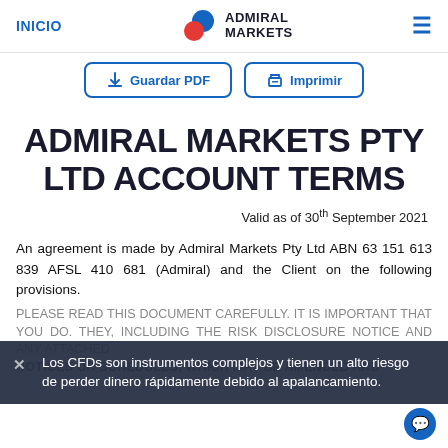INICIO | ADMIRAL MARKETS
[Figure (logo): Admiral Markets logo with blue and red circles]
Guardar PDF | Imprimir
ADMIRAL MARKETS PTY LTD ACCOUNT TERMS
Valid as of 30th September 2021
An agreement is made by Admiral Markets Pty Ltd ABN 63 151 613 839 AFSL 410 681 (Admiral) and the Client on the following provisions.
Los CFDs son instrumentos complejos y tienen un alto riesgo de perder dinero rápidamente debido al apalancamiento.